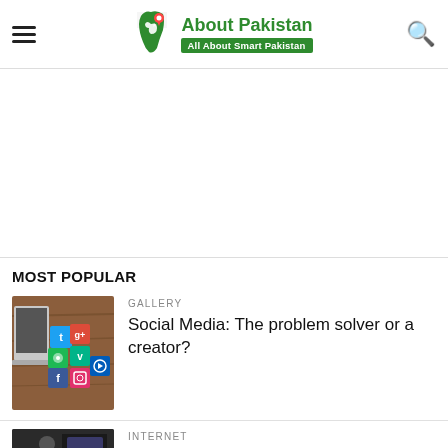About Pakistan — All About Smart Pakistan
[Figure (other): Advertisement/blank white area]
MOST POPULAR
[Figure (photo): Social media icon blocks (Facebook, Twitter, Vine, Spotify, etc.) on a wooden surface with a laptop]
GALLERY
Social Media: The problem solver or a creator?
INTERNET